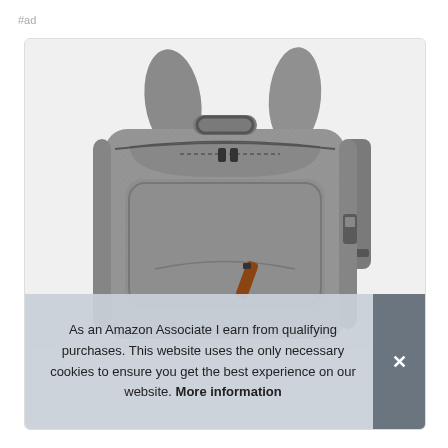#ad
[Figure (photo): A grey heathered fabric travel backpack with multiple zippered compartments, dual carry handles on top, shoulder straps visible on back right, and a brown leather zipper pull accent on the front pocket. Black metal zipper pulls throughout. Photographed against a white background.]
As an Amazon Associate I earn from qualifying purchases. This website uses the only necessary cookies to ensure you get the best experience on our website. More information